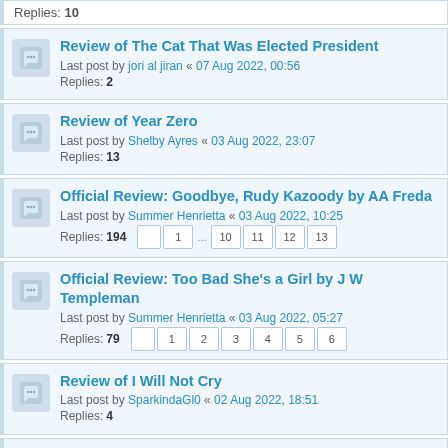Replies: 10
Review of The Cat That Was Elected President
Last post by jori al jiran « 07 Aug 2022, 00:56
Replies: 2
Review of Year Zero
Last post by Shelby Ayres « 03 Aug 2022, 23:07
Replies: 13
Official Review: Goodbye, Rudy Kazoody by AA Freda
Last post by Summer Henrietta « 03 Aug 2022, 10:25
Replies: 194
Official Review: Too Bad She's a Girl by J W Templeman
Last post by Summer Henrietta « 03 Aug 2022, 05:27
Replies: 79
Review of I Will Not Cry
Last post by SparkindaGl0 « 02 Aug 2022, 18:51
Replies: 4
Twilight or The Vampire Diaries?
Last post by SparkindaGl0 « 02 Aug 2022, 18:43